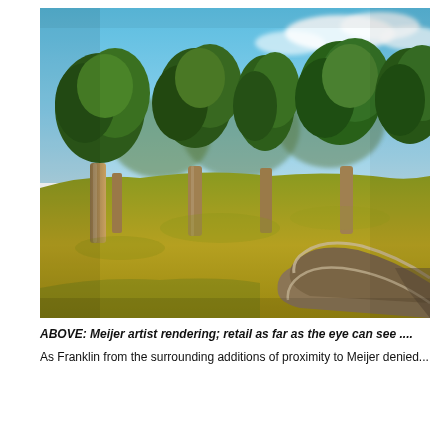[Figure (illustration): Meijer artist rendering showing a curving road or driveway in the foreground with green grass, large deciduous trees in the middle ground, and a blue sky with clouds in the background. Golden/yellow-green grass in the midground.]
ABOVE: Meijer artist rendering; retail as far as the eye can see ....
As Franklin from the surrounding additions of proximity to Meijer denied...